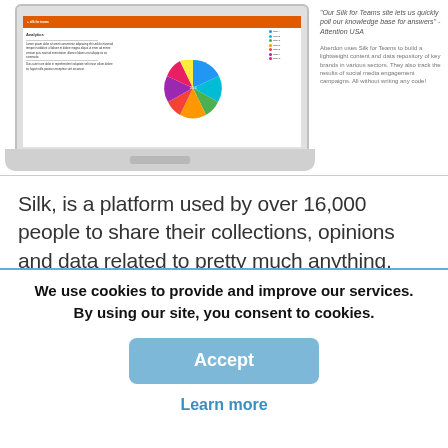[Figure (screenshot): Screenshot of a laptop displaying a web page with a pie chart and data visualization on an orange-framed display]
"Our Silk for Teams site lets us quickly poll our knowledge base for answers" - Attention USA
Aberdon uses Silk for Teams to build a lightweight content and data repository of key brands in various sectors. They also track the results of social media engagement campaigns. All without writing any code!
Silk, is a platform used by over 16,000 people to share their collections, opinions and data related to pretty much anything, ranging from their favourite coffee
We use cookies to provide and improve our services. By using our site, you consent to cookies.
Accept
Learn more